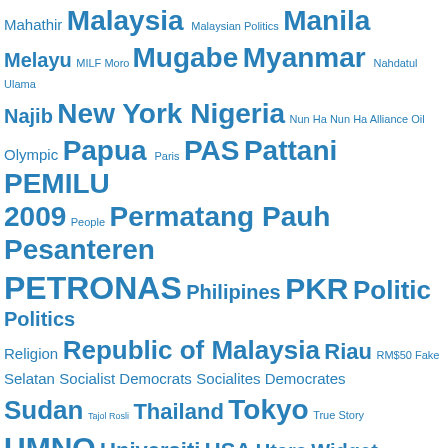[Figure (infographic): Tag cloud with terms related to Malaysian politics, Southeast Asian geography and politics, and international topics. Tags displayed in varying font sizes in blue color indicating frequency/importance. Terms include: Mahathir, Malaysia, Malaysian Politics, Manila, Melayu, MILF, Moro, Mugabe, Myanmar, Nahdatul Ulama, Najib, New York, Nigeria, Nun Ha, Nun Ha Alliance Oil, Olympic, Papua, Paris, PAS, Pattani, PEMILU 2009, People, Permatang Pauh, Pesanteren, PETRONAS, Philipines, PKR, Politic, Politics, Religion, Republic of Malaysia, Riau, RM$50 Fake, Selatan, Socialist Democrats, Socialites Democrates, Sudan, Tajol Rosli, Thailand, Tokyo, True Story, UMNO, Universiti, USA, Utara, Widget]